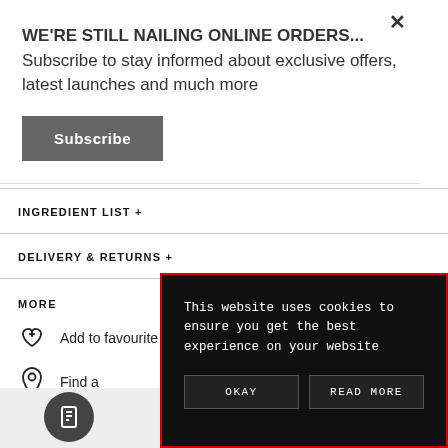WE'RE STILL NAILING ONLINE ORDERS... Subscribe to stay informed about exclusive offers, latest launches and much more
Subscribe
INGREDIENT LIST +
DELIVERY & RETURNS +
MORE
Add to favourite
Find a
This website uses cookies to ensure you get the best experience on your website
OKAY
READ MORE